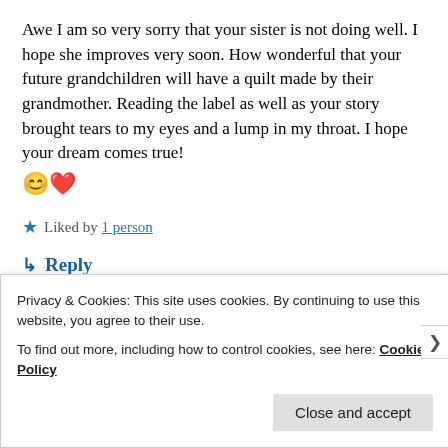Awe I am so very sorry that your sister is not doing well. I hope she improves very soon. How wonderful that your future grandchildren will have a quilt made by their grandmother. Reading the label as well as your story brought tears to my eyes and a lump in my throat. I hope your dream comes true! 😊❤️
Liked by 1 person
↳ Reply
Privacy & Cookies: This site uses cookies. By continuing to use this website, you agree to their use. To find out more, including how to control cookies, see here: Cookie Policy
Close and accept